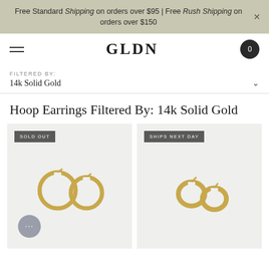Free Standard Shipping on orders over $95 | Free Rush Shipping on orders over $150
GLDN
FILTERED BY:
14k Solid Gold
Hoop Earrings Filtered By: 14k Solid Gold
[Figure (photo): Product card: gold hoop earrings on light grey background, badge reading SOLD OUT]
[Figure (photo): Product card: small gold hoop earrings on light grey background, badge reading SHIPS NEXT DAY]